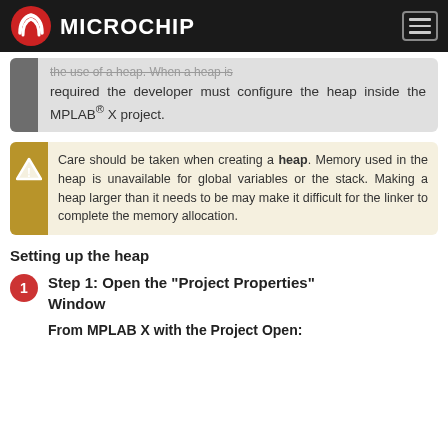Microchip
the use of a heap. When a heap is required the developer must configure the heap inside the MPLAB® X project.
Care should be taken when creating a heap. Memory used in the heap is unavailable for global variables or the stack. Making a heap larger than it needs to be may make it difficult for the linker to complete the memory allocation.
Setting up the heap
Step 1: Open the "Project Properties" Window
From MPLAB X with the Project Open: